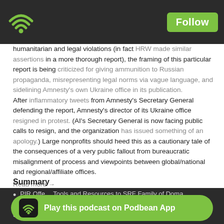Follow
humanitarian and legal violations (in fact HRW made similar assertions in a more thorough report), the framing of this particular report is being criticized for giving ammunition to Russian propaganda, misrepresenting legal norms via vague language, and sidelining Amnesty's own Ukraine office in its publication. After inflammatory tweets from Amnesty's Secretary General defending the report, Amnesty's director of its Ukraine office resigned in protest. (AI's Secretary General is now facing public calls to resign, and the organization has issued something of an apology.) Large nonprofits should heed this as a cautionary tale of the consequences of a very public fallout from bureaucratic misalignment of process and viewpoints between global/national and regional/affiliate offices.
Read more →
Summary
PIR Offers New Tools and Resources to SRF Family of Domains
Nonprofits launch $100M plan to support local news
[Figure (infographic): Podbean App banner with wifi logo icon and Follow button at top, and Play this podcast on Podbean App green pill banner at bottom]